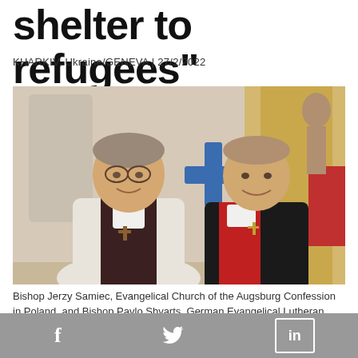shelter to refugees"
KHARKIV, Ukraine/GENEVA | 27/2/2022
[Figure (photo): Two bishops in clerical robes standing together in a church setting. Left: older man wearing white alb with dark vestments and glasses. Right: younger man wearing black and red stole with white collar and cross necklace. A blue cross and religious artwork visible in background.]
Bishop Jerzy Samiec, Evangelical Church of the Augsburg Confession in Poland, and Bishop Pavlo Shvarts, German Evangelical Lutheran Church in Ukraine. Bishop Samiec
f  Twitter  in